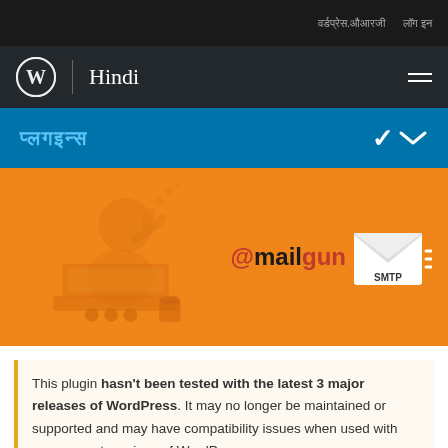वर्डप्रेस.ओआरजी | लॉग इन
Hindi
प्लगइन्स
[Figure (logo): Mailgun SMTP plugin banner on orange background with person illustration and envelope icon with SMTP label]
This plugin hasn't been tested with the latest 3 major releases of WordPress. It may no longer be maintained or supported and may have compatibility issues when used with more recent versions of WordPress.